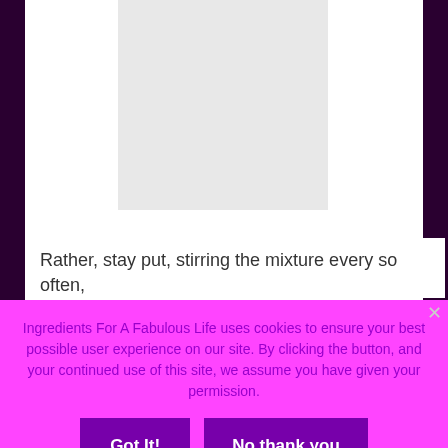[Figure (photo): Gray placeholder image rectangle in upper center portion of page]
Rather, stay put, stirring the mixture every so often,
Ingredients For A Fabulous Life uses cookies to ensure your best possible user experience on our site. By clicking the button, and your continued use of this site, we assume you have given your permission.
Got It!
No thank you